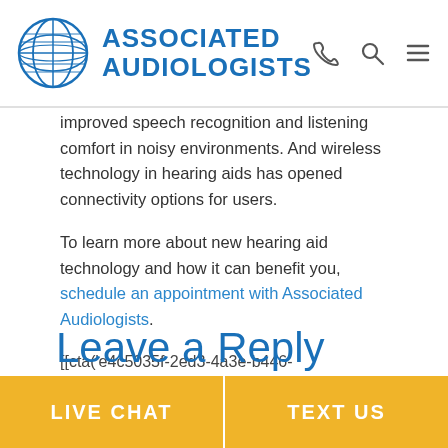Associated Audiologists
improved speech recognition and listening comfort in noisy environments. And wireless technology in hearing aids has opened connectivity options for users.
To learn more about new hearing aid technology and how it can benefit you, schedule an appointment with Associated Audiologists.
[[cta('e4c5035f-2ed3-4a3e-b446-021cd0507e1d')]]
Leave a Reply
LIVE CHAT | TEXT US